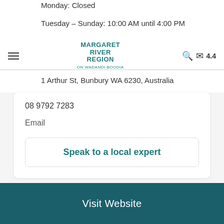Monday: Closed
Tuesday – Sunday: 10:00 AM until 4:00 PM
MARGARET RIVER REGION ON WADANDI BOODIA | 4.4
1 Arthur St, Bunbury WA 6230, Australia
08 9792 7283
Email
Speak to a local expert
The Bunbury Museum and Heritage Centre is the most exciting and innovative heritage project in the South West of Western Australia. It's the first museum to be developed in the area for many decades. The City of Bunbury gave the go-ahead
Visit Website